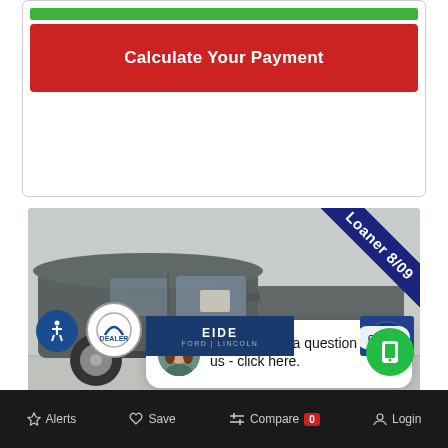Calculate Your Payment
[Figure (photo): Gray Ford F-150 pickup truck in a dealership showroom, with a blue 'Loaner 8/09' ribbon banner in the top-right corner. A chat popup overlay reads 'Do you have a question? Text us - click here.' with a female advisor avatar. A 'close' button is visible. Dealership logos and accessibility icon appear at the bottom of the photo.]
Do you have a question? Text us - click here.
Alerts  Save  Compare 0  Login